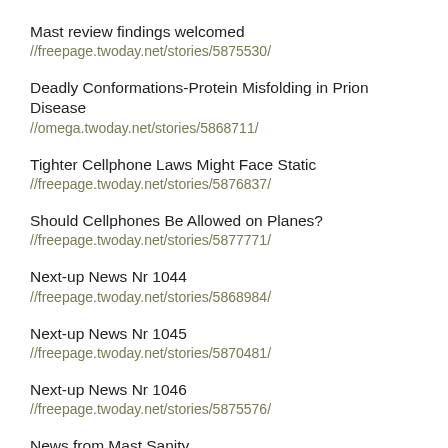Mast review findings welcomed
//freepage.twoday.net/stories/5875530/
Deadly Conformations-Protein Misfolding in Prion Disease
//omega.twoday.net/stories/5868711/
Tighter Cellphone Laws Might Face Static
//freepage.twoday.net/stories/5876837/
Should Cellphones Be Allowed on Planes?
//freepage.twoday.net/stories/5877771/
Next-up News Nr 1044
//freepage.twoday.net/stories/5868984/
Next-up News Nr 1045
//freepage.twoday.net/stories/5870481/
Next-up News Nr 1046
//freepage.twoday.net/stories/5875576/
News from Mast Sanity
//tinyurl.com/aotw3
Starmail - 15. Aug, 09:31